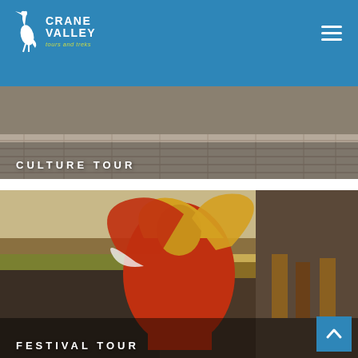[Figure (logo): Crane Valley Tours and Treks logo with white heron bird and text on blue background]
[Figure (photo): Culture Tour banner image showing stone paved courtyard with text overlay CULTURE TOUR]
[Figure (photo): Festival Tour image showing a masked dancer in elaborate red and gold costume performing at a Bhutanese festival with crowds and musicians in traditional dress, with text overlay FESTIVAL TOUR]